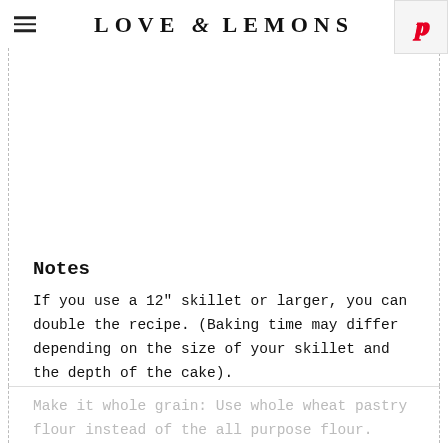LOVE & LEMONS
Notes
If you use a 12" skillet or larger, you can double the recipe. (Baking time may differ depending on the size of your skillet and the depth of the cake).
Make it whole grain: Use whole wheat pastry flour instead of the all purpose flour.